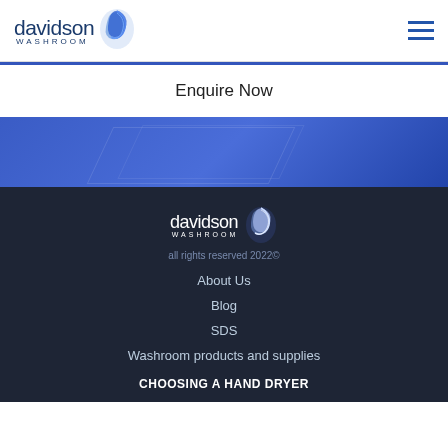[Figure (logo): Davidson Washroom logo with blue water drop/wave icon, company name in dark blue]
Enquire Now
[Figure (photo): Blue gradient decorative section with faint geometric lines]
[Figure (logo): Davidson Washroom logo in white on dark background]
all rights reserved 2022©
About Us
Blog
SDS
Washroom products and supplies
CHOOSING A HAND DRYER